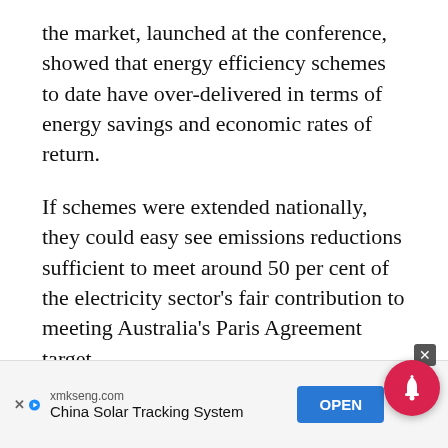the market, launched at the conference, showed that energy efficiency schemes to date have over-delivered in terms of energy savings and economic rates of return.
If schemes were extended nationally, they could easy see emissions reductions sufficient to meet around 50 per cent of the electricity sector's fair contribution to meeting Australia's Paris Agreement target.
In addition, they can assist with the phase out of some of our dirtiest power stations.
[Figure (screenshot): Advertisement banner: xmkseng.com China Solar Tracking System with OPEN button, close X button, and red notification bell icon]